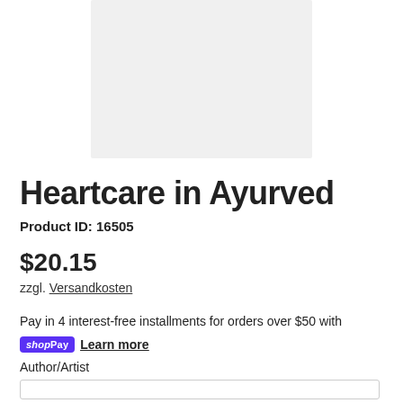[Figure (photo): Light gray product image placeholder box centered at top of page]
Heartcare in Ayurved
Product ID: 16505
$20.15
zzgl. Versandkosten
Pay in 4 interest-free installments for orders over $50 with
shop Pay   Learn more
Author/Artist